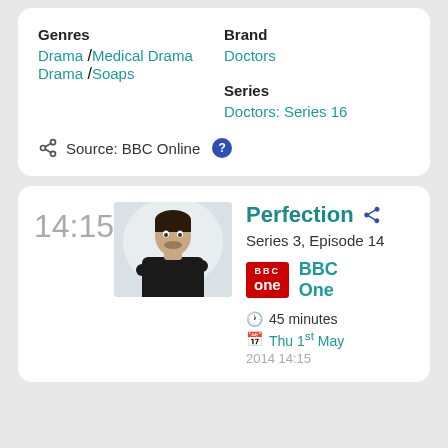Genres
Drama / Medical Drama / Soaps
Brand
Doctors
Series
Doctors: Series 16
Source: BBC Online ?
14:15
[Figure (photo): A man with dark hair wearing a black t-shirt, arms crossed, against a white/light grey background]
Perfection
Series 3, Episode 14
BBC One
45 minutes
Thu 1st May 2014 14:15